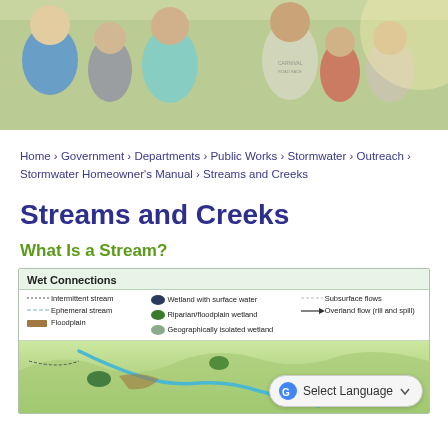[Figure (photo): Group of people jogging outdoors, banner photo at top of page]
Home › Government › Departments › Public Works › Stormwater › Outreach › Stormwater Homeowner's Manual › Streams and Creeks
Streams and Creeks
What Is a Stream?
[Figure (infographic): Wet Connections legend and landscape diagram showing intermittent stream, ephemeral stream, floodplain, wetland with surface water, riparian/floodplain wetland, geographically isolated wetland, subsurface flows, and overland flow (rill and spill)]